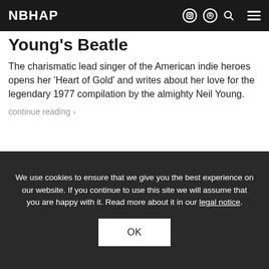NBHAP
Young's Beatle
The charismatic lead singer of the American indie heroes opens her 'Heart of Gold' and writes about her love for the legendary 1977 compilation by the almighty Neil Young.
continue reading >
[Figure (photo): Basia Bulat - Photo by Colin Medley (broken image placeholder)]
We use cookies to ensure that we give you the best experience on our website. If you continue to use this site we will assume that you are happy with it. Read more about it in our legal notice.